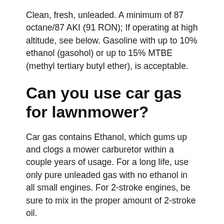Clean, fresh, unleaded. A minimum of 87 octane/87 AKI (91 RON); If operating at high altitude, see below. Gasoline with up to 10% ethanol (gasohol) or up to 15% MTBE (methyl tertiary butyl ether), is acceptable.
Can you use car gas for lawnmower?
Car gas contains Ethanol, which gums up and clogs a mower carburetor within a couple years of usage. For a long life, use only pure unleaded gas with no ethanol in all small engines. For 2-stroke engines, be sure to mix in the proper amount of 2-stroke oil.
How do you buy petrol for a